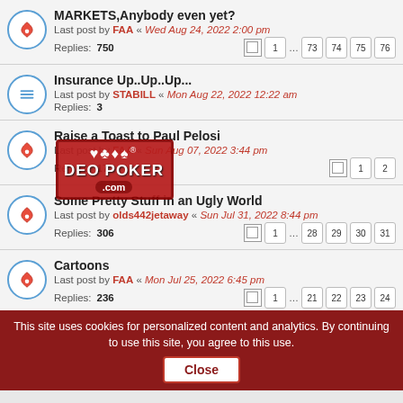MARKETS,Anybody even yet? — Last post by FAA « Wed Aug 24, 2022 2:00 pm — Replies: 750 — Pages: 1 ... 73 74 75 76
Insurance Up..Up..Up... — Last post by STABILL « Mon Aug 22, 2022 12:22 am — Replies: 3
Raise a Toast to Paul Pelosi — Last post by FAA « Sun Aug 07, 2022 3:44 pm — Replies: 17 — Pages: 1 2
Some Pretty Stuff in an Ugly World — Last post by olds442jetaway « Sun Jul 31, 2022 8:44 pm — Replies: 306 — Pages: 1 ... 28 29 30 31
Cartoons — Last post by FAA « Mon Jul 25, 2022 6:45 pm — Replies: 236 — Pages: 1 ... 21 22 23 24
Phil Hellmuth — Last post by FAA « Sat Jul 16, 2022 8:39 am — Replies: 5
This site uses cookies for personalized content and analytics. By continuing to use this site, you agree to this use. Close